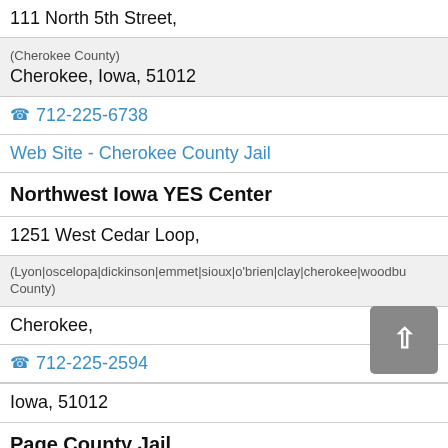111 North 5th Street,
(Cherokee County)
Cherokee, Iowa, 51012
☎ 712-225-6738
Web Site - Cherokee County Jail
Northwest Iowa YES Center
1251 West Cedar Loop,
(Lyon|oscelopa|dickinson|emmet|sioux|o'brien|clay|cherokee|woodbu County)
Cherokee,
☎ 712-225-2594
Iowa, 51012
Page County Jail
222 North 15th Street,